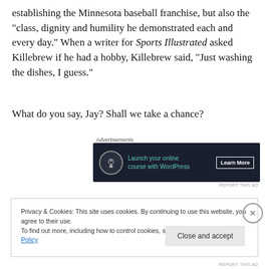establishing the Minnesota baseball franchise, but also the “class, dignity and humility he demonstrated each and every day.” When a writer for Sports Illustrated asked Killebrew if he had a hobby, Killebrew said, “Just washing the dishes, I guess.”
What do you say, Jay? Shall we take a chance?
[Figure (other): Advertisement banner for launching an online course with WordPress. Dark navy background with circular tree logo, teal text reading 'Launch your online course with WordPress', and a 'Learn More' button with white border.]
Privacy & Cookies: This site uses cookies. By continuing to use this website, you agree to their use.
To find out more, including how to control cookies, see here: Cookie Policy